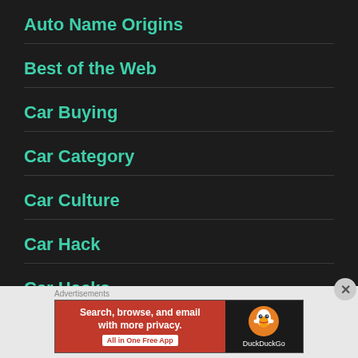Auto Name Origins
Best of the Web
Car Buying
Car Category
Car Culture
Car Hack
Car Hacks
[Figure (screenshot): DuckDuckGo advertisement banner: orange left panel with text 'Search, browse, and email with more privacy. All in One Free App' and dark right panel with DuckDuckGo duck logo and brand name.]